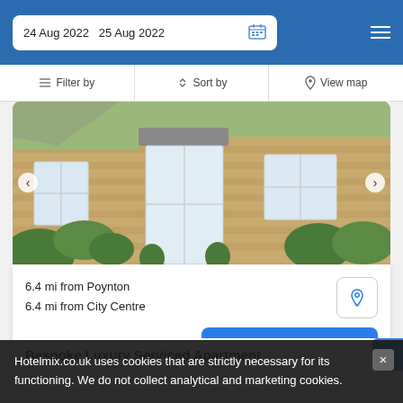24 Aug 2022   25 Aug 2022
Filter by   Sort by   View map
[Figure (photo): Exterior photo of a stone cottage/property with white-framed windows, green hedge, and a canopied entrance door]
6.4 mi from Poynton
6.4 mi from City Centre
SELECT
Bespoke Luxury Serviced Apartment
Hotelmix.co.uk uses cookies that are strictly necessary for its functioning. We do not collect analytical and marketing cookies.